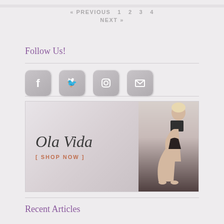« PREVIOUS  1  2  3  4  NEXT »
Follow Us!
[Figure (infographic): Four social media icon buttons: Facebook, Twitter, Instagram, Email/envelope]
[Figure (photo): Ola Vida fashion advertisement showing a blonde model seated on a dark floor, with scripted 'Ola Vida' branding and '[ SHOP NOW ]' call to action in orange]
Recent Articles